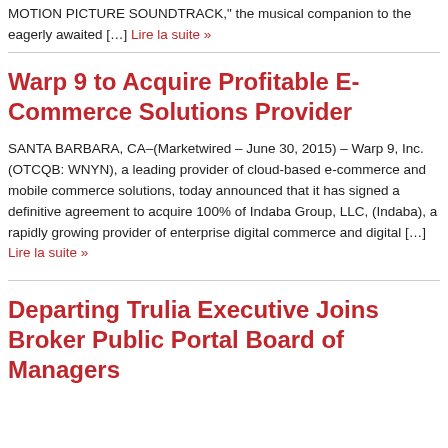MOTION PICTURE SOUNDTRACK," the musical companion to the eagerly awaited […] Lire la suite »
Warp 9 to Acquire Profitable E-Commerce Solutions Provider
SANTA BARBARA, CA–(Marketwired – June 30, 2015) – Warp 9, Inc. (OTCQB: WNYN), a leading provider of cloud-based e-commerce and mobile commerce solutions, today announced that it has signed a definitive agreement to acquire 100% of Indaba Group, LLC, (Indaba), a rapidly growing provider of enterprise digital commerce and digital […] Lire la suite »
Departing Trulia Executive Joins Broker Public Portal Board of Managers